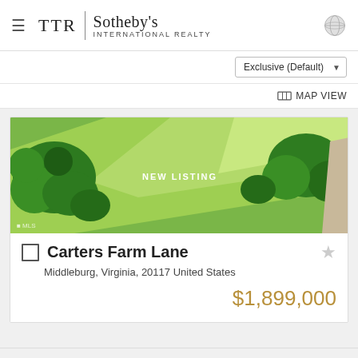[Figure (logo): TTR Sotheby's International Realty logo with hamburger menu and globe icon]
Exclusive (Default)
MAP VIEW
[Figure (photo): Aerial view of green farmland with trees labeled NEW LISTING]
Carters Farm Lane
Middleburg, Virginia, 20117 United States
$1,899,000